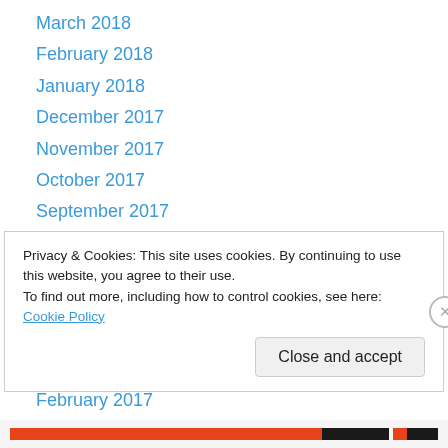March 2018
February 2018
January 2018
December 2017
November 2017
October 2017
September 2017
August 2017
July 2017
June 2017
April 2017
March 2017
February 2017
Privacy & Cookies: This site uses cookies. By continuing to use this website, you agree to their use. To find out more, including how to control cookies, see here: Cookie Policy
Close and accept